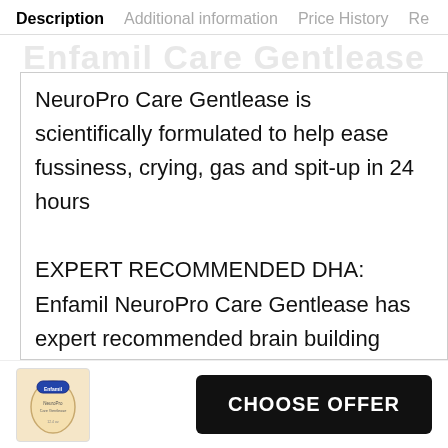Description | Additional information | Price History | Re
NeuroPro Care Gentlease is scientifically formulated to help ease fussiness, crying, gas and spit-up in 24 hours
EXPERT RECOMMENDED DHA: Enfamil NeuroPro Care Gentlease has expert recommended brain building DHA
HUMO6 IMMUNE BLEND: Enfamil Neuropro Care Gentlease has an exclusive HuMO6 immune and gentle
[Figure (photo): Product image of Enfamil NeuroPro Care Gentlease formula can]
CHOOSE OFFER